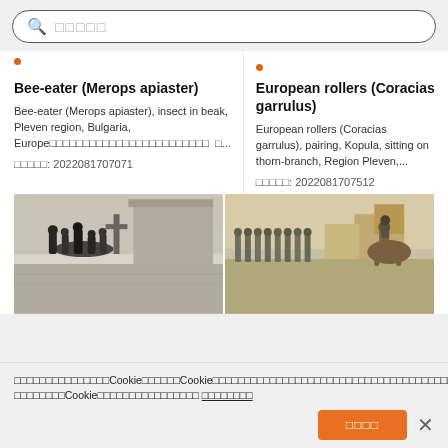[Figure (screenshot): Search bar with magnifying glass icon and placeholder text (Japanese/CJK characters)]
Bee-eater (Merops apiaster)
Bee-eater (Merops apiaster), insect in beak, Pleven region, Bulgaria, Europe□□□□□□□□□□□□□□□□□□□□□□□□ □...
□□□□□: 2022081707071
European rollers (Coracias garrulus)
European rollers (Coracias garrulus), pairing, Kopula, sitting on thorn-branch, Region Pleven,...
□□□□□: 2022081707512
[Figure (photo): Black and white historical illustration showing a group of people in a village scene]
[Figure (photo): Color historical illustration showing military soldiers standing in formation with horses and buildings in background]
□□□□□□□□□□□□□□□CookieΒ□□□□□□□□Cookie□□□□□□□□□□□□□□□□□□□□□□□□□□□□□□□□□□□□□□□□□□□□□□□□□□□□□□□□□□□Cookie□□□□□□□□□□□□□□□□□□ □□□□□□□□